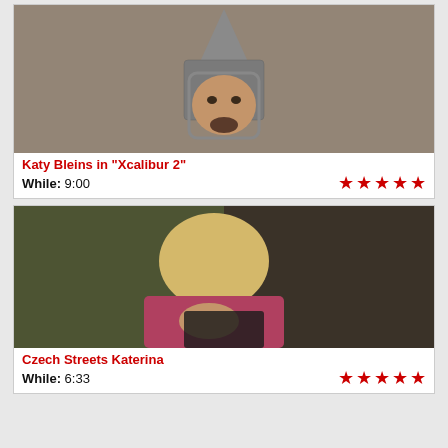[Figure (photo): A man wearing chainmail armor and a tall pointed chainmail helmet, looking downward, against a beige/brown background.]
Katy Bleins in "Xcalibur 2"
While: 9:00
[Figure (photo): A blonde person in a pink top in a dimly lit scene.]
Czech Streets Katerina
While: 6:33